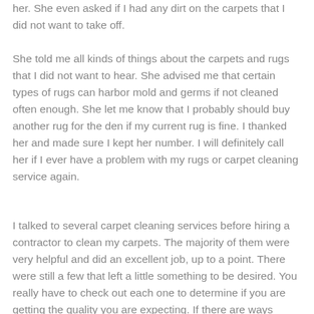her. She even asked if I had any dirt on the carpets that I did not want to take off.
She told me all kinds of things about the carpets and rugs that I did not want to hear. She advised me that certain types of rugs can harbor mold and germs if not cleaned often enough. She let me know that I probably should buy another rug for the den if my current rug is fine. I thanked her and made sure I kept her number. I will definitely call her if I ever have a problem with my rugs or carpet cleaning service again.
I talked to several carpet cleaning services before hiring a contractor to clean my carpets. The majority of them were very helpful and did an excellent job, up to a point. There were still a few that left a little something to be desired. You really have to check out each one to determine if you are getting the quality you are expecting. If there are ways